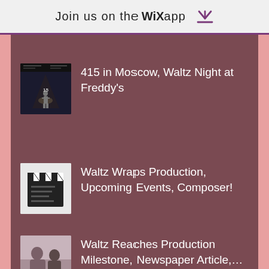Join us on the WiX app
415 in Moscow, Waltz Night at Freddy's
Waltz Wraps Production, Upcoming Events, Composer!
Waltz Reaches Production Milestone, Newspaper Article,…
Waltz Production